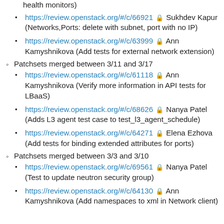health monitors)
https://review.openstack.org/#/c/66921 🔒 Sukhdev Kapur (Networks,Ports: delete with subnet, port with no IP)
https://review.openstack.org/#/c/63999 🔒 Ann Kamyshnikova (Add tests for external network extension)
Patchsets merged between 3/11 and 3/17
https://review.openstack.org/#/c/61118 🔒 Ann Kamyshnikova (Verify more information in API tests for LBaaS)
https://review.openstack.org/#/c/68626 🔒 Nanya Patel (Adds L3 agent test case to test_l3_agent_schedule)
https://review.openstack.org/#/c/64271 🔒 Elena Ezhova (Add tests for binding extended attributes for ports)
Patchsets merged between 3/3 and 3/10
https://review.openstack.org/#/c/69561 🔒 Nanya Patel (Test to update neutron security group)
https://review.openstack.org/#/c/64130 🔒 Ann Kamyshnikova (Add namespaces to xml in Network client)